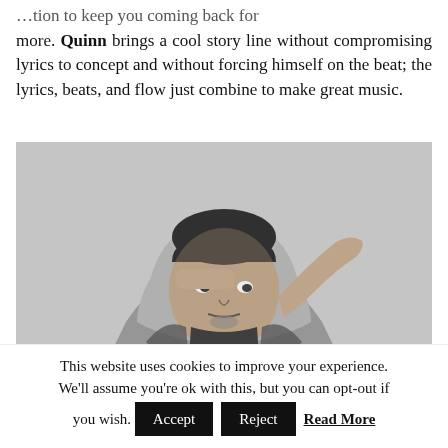…tion to keep you coming back for more. Quinn brings a cool story line without compromising lyrics to concept and without forcing himself on the beat; the lyrics, beats, and flow just combine to make great music.
[Figure (photo): Black and white photo of a young man wearing a hoodie and jacket, saluting with his right hand raised to his forehead, looking at the camera.]
This website uses cookies to improve your experience. We'll assume you're ok with this, but you can opt-out if you wish. Accept Reject Read More